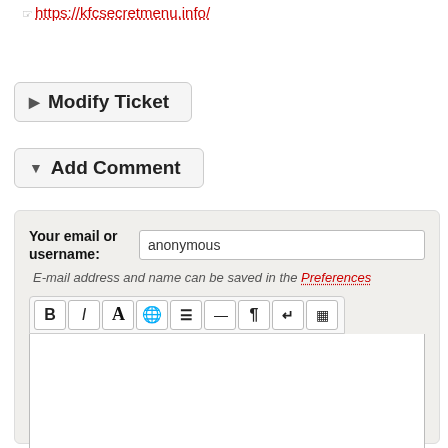https://kfcsecretmenu.info/
▶ Modify Ticket
▼ Add Comment
Your email or username: anonymous
E-mail address and name can be saved in the Preferences
[Figure (screenshot): Text editor toolbar with Bold, Italic, Font color, Globe, Block, HR, Paragraph, Return, and Table buttons, followed by an empty comment text area.]